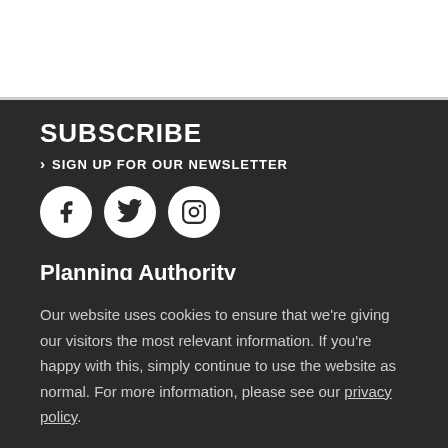SUBSCRIBE
› SIGN UP FOR OUR NEWSLETTER
[Figure (illustration): Three social media icon circles: Facebook, Twitter, Instagram]
Planning Authority
Our planning role
Making an application
Our website uses cookies to ensure that we’re giving our visitors the most relevant information. If you’re happy with this, simply continue to use the website as normal. For more information, please see our privacy policy.
Close